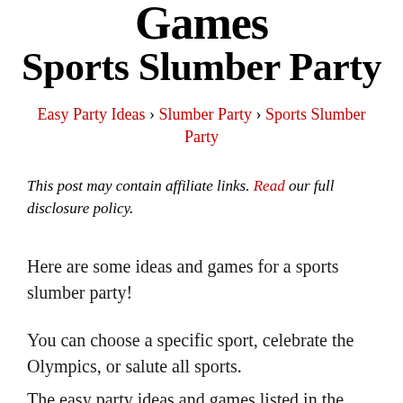Games Sports Slumber Party
Easy Party Ideas › Slumber Party › Sports Slumber Party
This post may contain affiliate links. Read our full disclosure policy.
Here are some ideas and games for a sports slumber party!
You can choose a specific sport, celebrate the Olympics, or salute all sports.
The easy party ideas and games listed in the party plan below are general enough to include all sports. Adapt it if you wish for a certain sport, such as soccer,